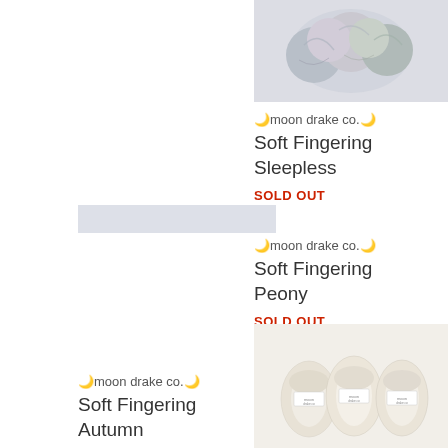[Figure (photo): Colorful yarn balls/skeins with muted pastel tones on a light background, top right]
🌙moon drake co.🌙
Soft Fingering
Sleepless
SOLD OUT
[Figure (photo): Partial product image placeholder showing a light grey/white bar, mid left]
🌙moon drake co.🌙
Soft Fingering
Peony
SOLD OUT
[Figure (photo): Three skeins of cream/white yarn with small paper labels, on a white background, bottom right]
🌙moon drake co.🌙
Soft Fingering
Autumn